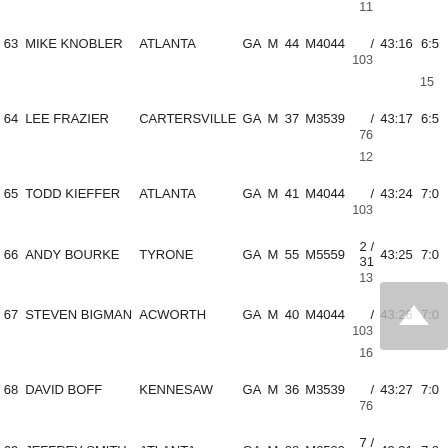| Place | Name | City | ST | Sex | Age | Div | Div Place | Time | Pace |
| --- | --- | --- | --- | --- | --- | --- | --- | --- | --- |
|  |  |  |  |  |  |  | 11 |  |  |
| 63 | MIKE KNOBLER | ATLANTA | GA | M | 44 | M4044 | / 103 | 43:16 | 6:5 |
|  |  |  |  |  |  |  | 15 |  |  |
| 64 | LEE FRAZIER | CARTERSVILLE | GA | M | 37 | M3539 | / 76 | 43:17 | 6:5 |
|  |  |  |  |  |  |  | 12 |  |  |
| 65 | TODD KIEFFER | ATLANTA | GA | M | 41 | M4044 | / 103 | 43:24 | 7:0 |
| 66 | ANDY BOURKE | TYRONE | GA | M | 55 | M5559 | 2 / 31 | 43:25 | 7:0 |
|  |  |  |  |  |  |  | 13 |  |  |
| 67 | STEVEN BIGMAN | ACWORTH | GA | M | 40 | M4044 | / 103 | 43:26 | 7:0 |
|  |  |  |  |  |  |  | 16 |  |  |
| 68 | DAVID BOFF | KENNESAW | GA | M | 36 | M3539 | / 76 | 43:27 | 7:0 |
| 69 | JEFFREY SMITH | ATLANTA | GA | M | 28 | M2529 | 7 / 44 | 43:31 | 7:0 |
|  |  |  |  |  |  |  | 17 |  |  |
| 70 | KARIM HANAFY | MARIETTA | GA | M | 37 | M3539 | /  | 43:37 | 7:0 |